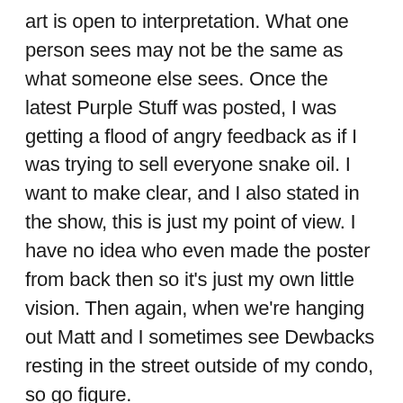art is open to interpretation. What one person sees may not be the same as what someone else sees. Once the latest Purple Stuff was posted, I was getting a flood of angry feedback as if I was trying to sell everyone snake oil. I want to make clear, and I also stated in the show, this is just my point of view. I have no idea who even made the poster from back then so it's just my own little vision. Then again, when we're hanging out Matt and I sometimes see Dewbacks resting in the street outside of my condo, so go figure.
Since I was put to the task by many online friends so far, I decided to try to attempt to explain what I'm seeing. If you can't see it, I don't blame you, but I hope you do, cause I think it's more fun that way!